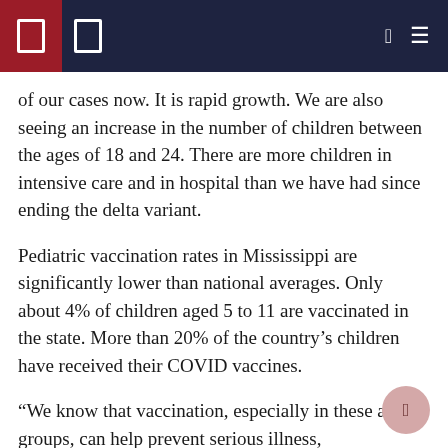[navigation header bar]
of our cases now. It is rapid growth. We are also seeing an increase in the number of children between the ages of 18 and 24. There are more children in intensive care and in hospital than we have had since ending the delta variant.
Pediatric vaccination rates in Mississippi are significantly lower than national averages. Only about 4% of children aged 5 to 11 are vaccinated in the state. More than 20% of the country’s children have received their COVID vaccines.
“We know that vaccination, especially in these age groups, can help prevent serious illness, hospitalizations and death. We must do better. We need to get more children immunized, ”Byers said.